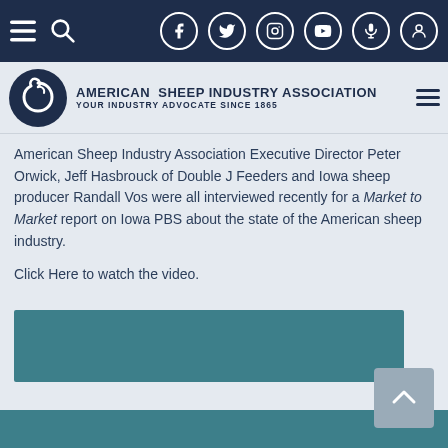Navigation bar with menu, search icons and social media icons (Facebook, Twitter, Instagram, YouTube, microphone, user account)
[Figure (logo): American Sheep Industry Association logo — circular spiral sheep graphic with text 'AMERICAN SHEEP INDUSTRY ASSOCIATION' and 'YOUR INDUSTRY ADVOCATE SINCE 1865']
American Sheep Industry Association Executive Director Peter Orwick, Jeff Hasbrouck of Double J Feeders and Iowa sheep producer Randall Vos were all interviewed recently for a Market to Market report on Iowa PBS about the state of the American sheep industry.
Click Here to watch the video.
[Figure (other): Teal/dark cyan rectangular block, likely a video embed placeholder]
Footer bar in teal color